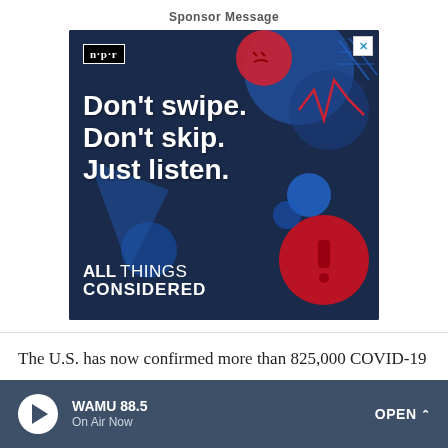Sponsor Message
[Figure (illustration): NPR 'All Things Considered' advertisement with dark blue background. NPR logo in top left corner. Text reads: Don't swipe. Don't skip. Just listen. ALL THINGS CONSIDERED. Decorative graphic elements including headphones, zigzag lines, exclamation mark icon, and abstract shapes in red and blue. Close button (X) in top right corner.]
The U.S. has now confirmed more than 825,000 COVID-19
WAMU 88.5 On Air Now OPEN ^